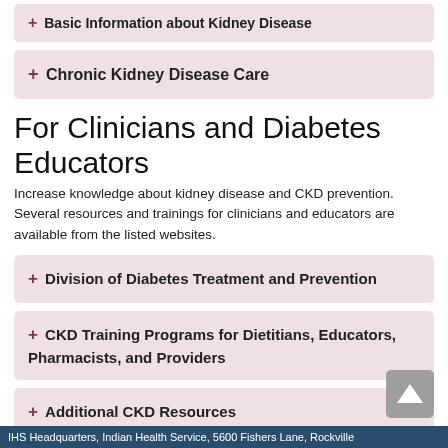+ Basic Information about Kidney Disease
+ Chronic Kidney Disease Care
For Clinicians and Diabetes Educators
Increase knowledge about kidney disease and CKD prevention. Several resources and trainings for clinicians and educators are available from the listed websites.
+ Division of Diabetes Treatment and Prevention
+ CKD Training Programs for Dietitians, Educators, Pharmacists, and Providers
+ Additional CKD Resources
IHS Headquarters, Indian Health Service, 5600 Fishers Lane, Rockville